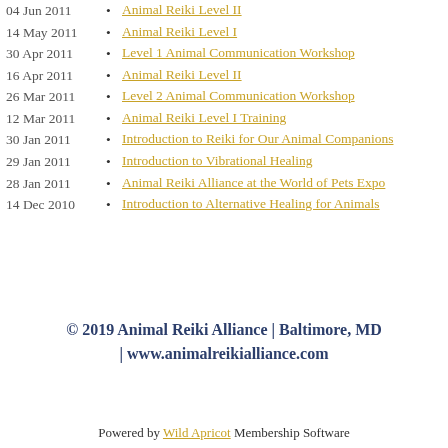04 Jun 2011 • Animal Reiki Level II
14 May 2011 • Animal Reiki Level I
30 Apr 2011 • Level 1 Animal Communication Workshop
16 Apr 2011 • Animal Reiki Level II
26 Mar 2011 • Level 2 Animal Communication Workshop
12 Mar 2011 • Animal Reiki Level I Training
30 Jan 2011 • Introduction to Reiki for Our Animal Companions
29 Jan 2011 • Introduction to Vibrational Healing
28 Jan 2011 • Animal Reiki Alliance at the World of Pets Expo
14 Dec 2010 • Introduction to Alternative Healing for Animals
© 2019 Animal Reiki Alliance | Baltimore, MD | www.animalreikialliance.com
Powered by Wild Apricot Membership Software